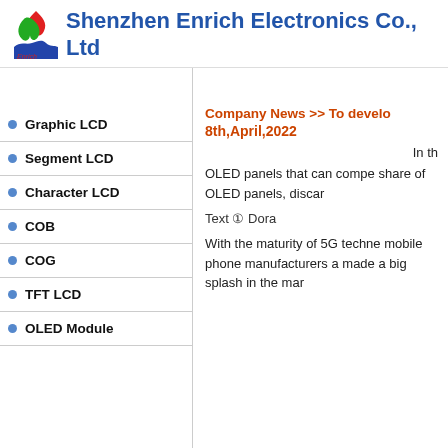Shenzhen Enrich Electronics Co., Ltd
Graphic LCD
Segment LCD
Character LCD
COB
COG
TFT LCD
OLED Module
Company News >> To develo
8th,April,2022
In th
OLED panels that can compe share of OLED panels, discar
Text ① Dora
With the maturity of 5G techne mobile phone manufacturers a made a big splash in the mar